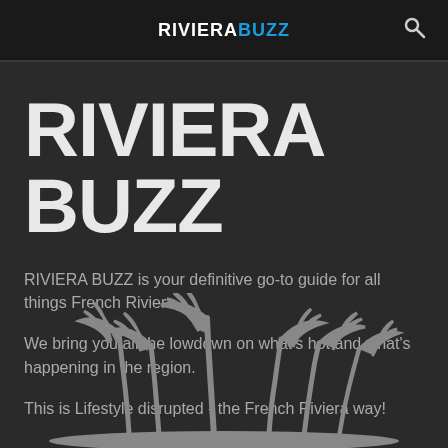RIVIERABUZZ
RIVIERABUZZ
RIVIERA BUZZ is your definitive go-to guide for all things French Riviera.
We bring you all the lowdown on what's hot and what's happening in the region.
This is Lifestyle disrupted - the French Riviera way!
[Figure (illustration): Silhouette illustration of palm trees on a small island, rendered in grey on dark background]